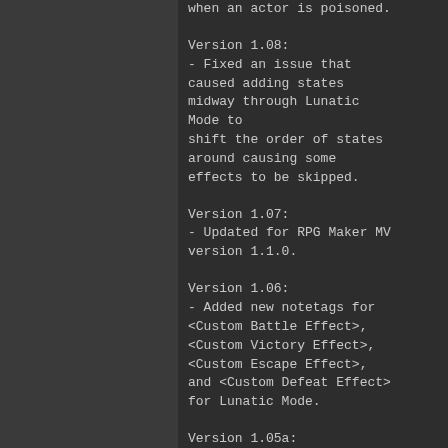when an actor is poisoned.
Version 1.08:
- Fixed an issue that caused adding states midway through Lunatic Mode to shift the order of states around causing some effects to be skipped.
Version 1.07:
- Updated for RPG Maker MV version 1.1.0.
Version 1.06:
- Added new notetags for <Custom Battle Effect>, <Custom Victory Effect>, <Custom Escape Effect>, and <Custom Defeat Effect> for Lunatic Mode.
Version 1.05a:
- Fixed a bug with the